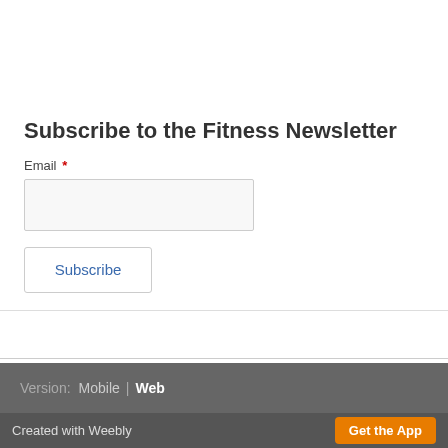Subscribe to the Fitness Newsletter
Email *
[Figure (screenshot): Email input text field, empty, with light gray background and border]
[Figure (screenshot): Subscribe button with blue text on white background with gray border]
Version: Mobile | Web
Created with Weebly  Get the App